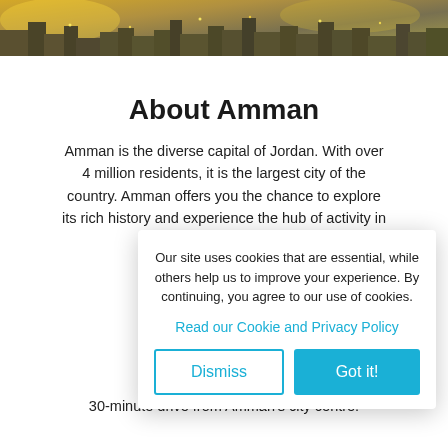[Figure (photo): Aerial/elevated photo of an urban city scene at dusk, showing rooftops, antennas, and city lights, likely Amman, Jordan]
About Amman
Amman is the diverse capital of Jordan. With over 4 million residents, it is the largest city of the country. Amman offers you the chance to explore its rich history and experience the hub of activity in the d... attrac... Abdulla...
Cheap fl... limited p... exceptio... Queen Al... 30-minute drive from Amman's city centre.
Our site uses cookies that are essential, while others help us to improve your experience. By continuing, you agree to our use of cookies.
Read our Cookie and Privacy Policy
Dismiss | Got it!